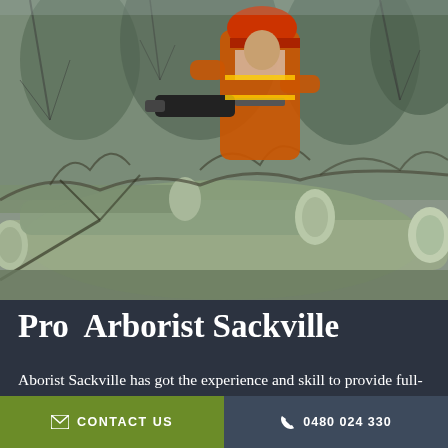[Figure (photo): Arborist wearing orange safety vest and helmet using a chainsaw to cut through a large pile of felled trees and branches in a wooded area.]
Pro Arborist Sackville
Aborist Sackville has got the experience and skill to provide full-scale tree services Sackville tailor-made to meet your specific needs. It's not until you have tried a tree removal yourself that you realise how much dedication this job...
CONTACT US    0480 024 330